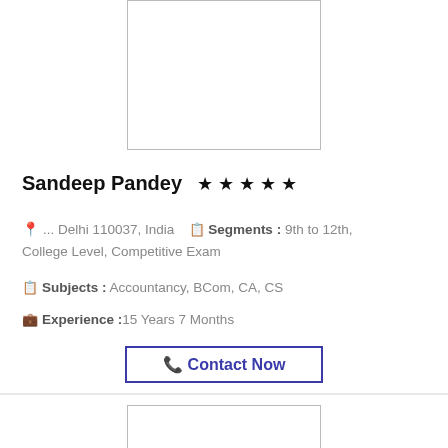[Figure (photo): Profile photo placeholder box at top]
Sandeep Pandey ★★★★★
📍 ... Delhi 110037, India   📋 Segments : 9th to 12th, College Level, Competitive Exam
📋 Subjects : Accountancy, BCom, CA, CS
💼 Experience :15 Years 7 Months
📞 Contact Now
[Figure (photo): Profile photo placeholder box at bottom]